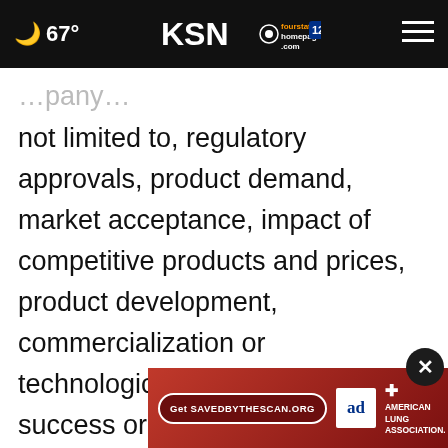67° KSN fourstates homepage.com 12
not limited to, regulatory approvals, product demand, market acceptance, impact of competitive products and prices, product development, commercialization or technological difficulties, the success or failure of negotiations and trade, legal, social and economic risks, and the risks associated with the adequacy of existing cash resources. Additional factors that could cause or contribute differ results and forward-looking statements include.
[Figure (screenshot): Ad banner for SAVEDBYTHESCAN.ORG by Ad Council and American Lung Association on a dark red background, with a close button (X)]